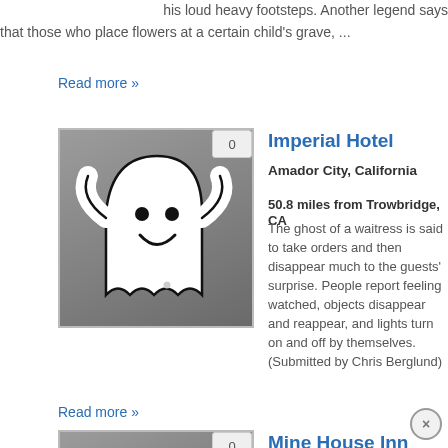his loud heavy footsteps. Another legend says that those who place flowers at a certain child's grave, ...
Read more »
[Figure (illustration): Ghost cartoon icon on gray background with badge showing 0]
Imperial Hotel
Amador City, California
50.8 miles from Trowbridge, CA
The ghost of a waitress is said to take orders and then disappear much to the guests' surprise. People report feeling watched, objects disappear and reappear, and lights turn on and off by themselves. (Submitted by Chris Berglund)
Read more »
[Figure (illustration): Ghost cartoon icon on gray background with badge showing 0]
Mine House Inn
Amador City, California
50.9 miles from Trowbridge, CA
Now closed, people once reported the ghost of an elderly couple bickering. Also said to b